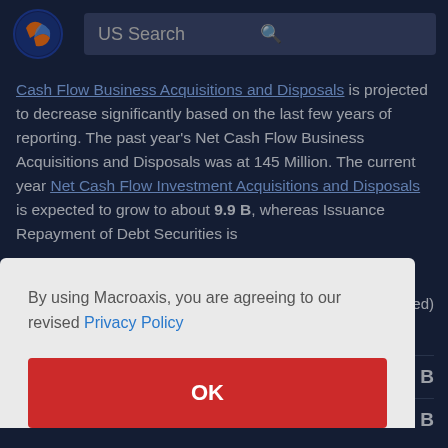[Figure (logo): Macroaxis logo — circular icon with orange and blue globe design]
US Search
Cash Flow Business Acquisitions and Disposals is projected to decrease significantly based on the last few years of reporting. The past year's Net Cash Flow Business Acquisitions and Disposals was at 145 Million. The current year Net Cash Flow Investment Acquisitions and Disposals is expected to grow to about 9.9 B, whereas Issuance Repayment of Debt Securities is
cted)
57 B
5.2 B
By using Macroaxis, you are agreeing to our revised Privacy Policy
OK